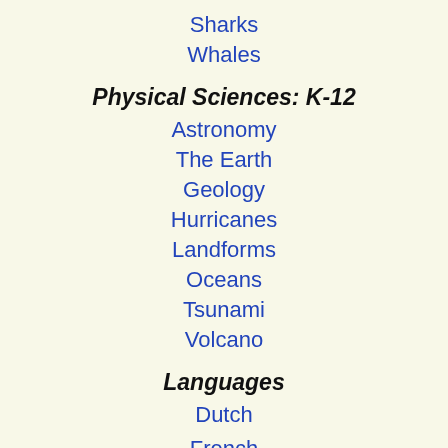Sharks
Whales
Physical Sciences: K-12
Astronomy
The Earth
Geology
Hurricanes
Landforms
Oceans
Tsunami
Volcano
Languages
Dutch
French